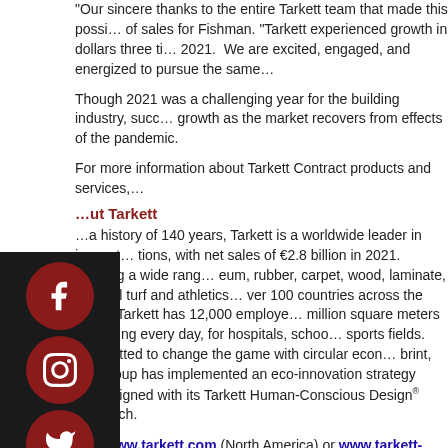"Our sincere thanks to the entire Tarkett team that made this possible," said … of sales for Fishman. "Tarkett experienced growth in dollars three times… 2021. We are excited, engaged, and energized to pursue the same…
Though 2021 was a challenging year for the building industry, succ… growth as the market recovers from effects of the pandemic.
For more information about Tarkett Contract products and services,…
About Tarkett
…a history of 140 years, Tarkett is a worldwide leader in innovat… tions, with net sales of €2.8 billion in 2021. Offering a wide rang… eum, rubber, carpet, wood, laminate, artificial turf and athletics … ver 100 countries across the globe. Tarkett has 12,000 employe… million square meters of flooring every day, for hospitals, schoo… sports fields. Committed to change the game with circular econ… brint, the Group has implemented an eco-innovation strategy ba… aligned with its Tarkett Human-Conscious Design® approach.
Visit www.tarkett.com (North America) or www.tarkett-group.com…
About Fishman Flooring Solutions
Fishman Flooring Solutions, headquartered in Baltimore, Maryland,… distributor of flooring and flooring installation products. It has appro… branches serving Alabama, Delaware, Georgia, Indiana, Kentucky,… Carolina, Ohio, Pennsylvania, South Carolina, Tennessee, Virginia,…